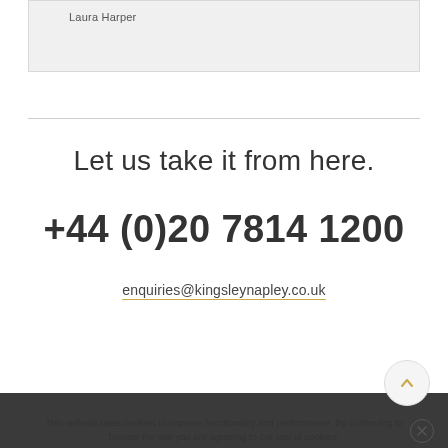Laura Harper
Let us take it from here.
+44 (0)20 7814 1200
enquiries@kingsleynapley.co.uk
This website uses cookies to improve functionality and performance. By continuing to browse the site you are agreeing to our use of cookies.